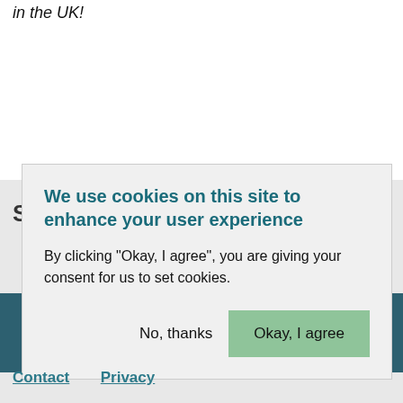in the UK!
Share thi...
We use cookies on this site to enhance your user experience

By clicking "Okay, I agree", you are giving your consent for us to set cookies.
No, thanks
Okay, I agree
Contact   Privacy